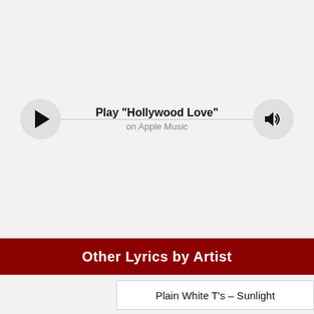[Figure (other): Music player widget with play button, volume button, track title 'Hollywood Love' and subtitle 'on Apple Music']
Other Lyrics by Artist
Plain White T's – Sunlight